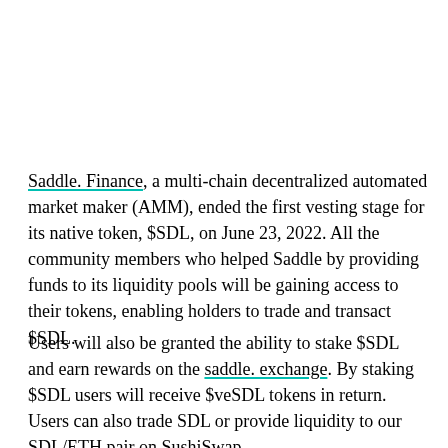Saddle. Finance, a multi-chain decentralized automated market maker (AMM), ended the first vesting stage for its native token, $SDL, on June 23, 2022. All the community members who helped Saddle by providing funds to its liquidity pools will be gaining access to their tokens, enabling holders to trade and transact $SDL.
Users will also be granted the ability to stake $SDL and earn rewards on the saddle. exchange. By staking $SDL users will receive $veSDL tokens in return. Users can also trade SDL or provide liquidity to our SDL/ETH pair on SushiSwap